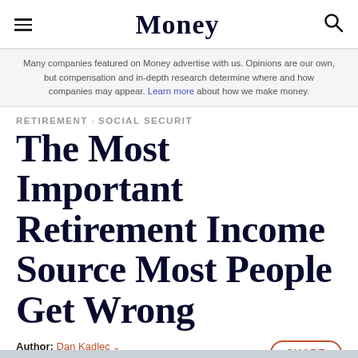Money
Many companies featured on Money advertise with us. Opinions are our own, but compensation and in-depth research determine where and how companies may appear. Learn more about how we make money.
RETIREMENT > SOCIAL SECURITY
The Most Important Retirement Income Source Most People Get Wrong
Author: Dan Kadlec ∨
Published: Sep 29, 2015 | 4 min read